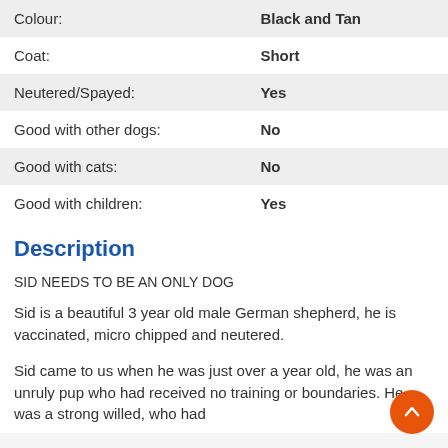| Attribute | Value |
| --- | --- |
| Colour: | Black and Tan |
| Coat: | Short |
| Neutered/Spayed: | Yes |
| Good with other dogs: | No |
| Good with cats: | No |
| Good with children: | Yes |
Description
SID NEEDS TO BE AN ONLY DOG
Sid is a beautiful 3 year old male German shepherd, he is vaccinated, micro chipped and neutered.
Sid came to us when he was just over a year old, he was an unruly pup who had received no training or boundaries. He was a strong willed, who had